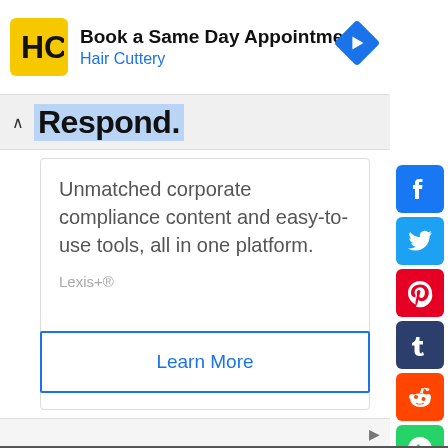[Figure (screenshot): Advertisement banner for Hair Cuttery: Book a Same Day Appointment]
Respond.
Unmatched corporate compliance content and easy-to-use tools, all in one platform.
Lexis+®
Learn More
[Figure (infographic): Social media sharing sidebar icons: Facebook, Twitter, Pinterest, Tumblr, Reddit, WhatsApp, Messenger]